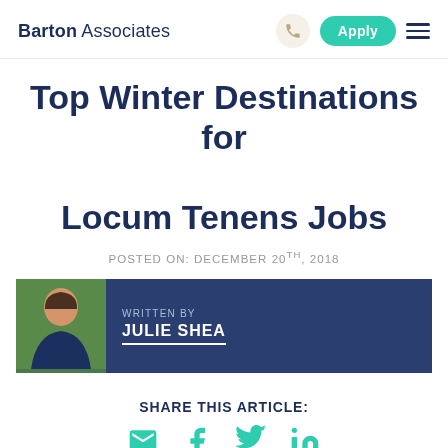Barton Associates | Apply
Top Winter Destinations for Locum Tenens Jobs
POSTED ON: DECEMBER 20TH, 2018
WRITTEN BY
JULIE SHEA
SHARE THIS ARTICLE:
[Figure (photo): Outdoor winter scene photo at the bottom of the page]